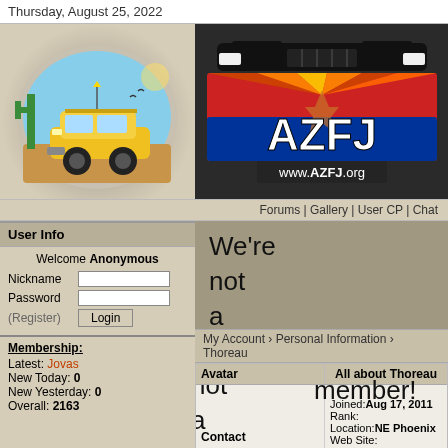Thursday, August 25, 2022
[Figure (illustration): Yellow FJ Cruiser off-road vehicle cartoon with cactus background in circular frame]
[Figure (logo): AZFJ logo with Arizona flag colors and www.AZFJ.org text, dark background with SUV silhouette]
Forums | Gallery | User CP | Chat
User Info
Welcome Anonymous
Nickname
Password
(Register)
Login
Membership:
Latest: Jovas
New Today: 0
New Yesterday: 0
Overall: 2163
We're not a club... so you're not a member!
My Account › Personal Information › Thoreau
| Avatar | All about Thoreau |
| --- | --- |
| Contact Information
Private Message:
Photo Gallery: | Joined: Aug 17, 2011
Rank:
Location: NE Phoenix
Web Site:
My
Occupation:
Interests: Hiking, photography, guns, ham |